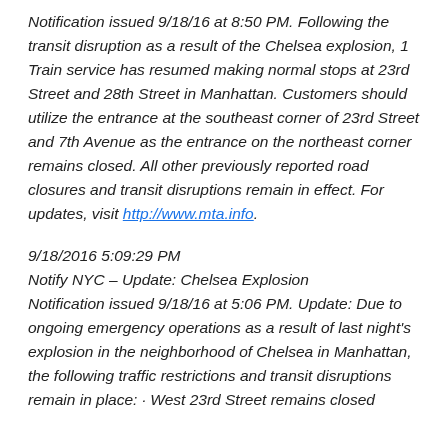Notification issued 9/18/16 at 8:50 PM. Following the transit disruption as a result of the Chelsea explosion, 1 Train service has resumed making normal stops at 23rd Street and 28th Street in Manhattan. Customers should utilize the entrance at the southeast corner of 23rd Street and 7th Avenue as the entrance on the northeast corner remains closed. All other previously reported road closures and transit disruptions remain in effect. For updates, visit http://www.mta.info.
9/18/2016 5:09:29 PM
Notify NYC – Update: Chelsea Explosion
Notification issued 9/18/16 at 5:06 PM. Update: Due to ongoing emergency operations as a result of last night's explosion in the neighborhood of Chelsea in Manhattan, the following traffic restrictions and transit disruptions remain in place: · West 23rd Street remains closed